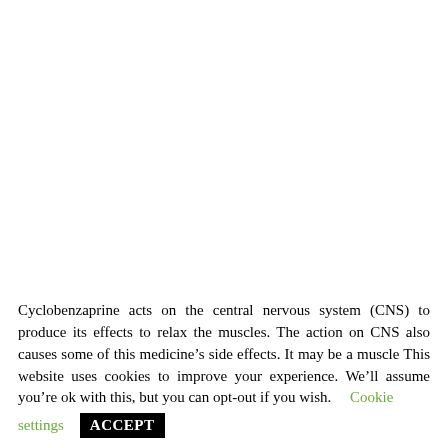Cyclobenzaprine acts on the central nervous system (CNS) to produce its effects to relax the muscles. The action on CNS also causes some of this medicine's side effects. It may be a muscle This website uses cookies to improve your experience. We'll assume you're ok with this, but you can opt-out if you wish.    Cookie settings    ACCEPT